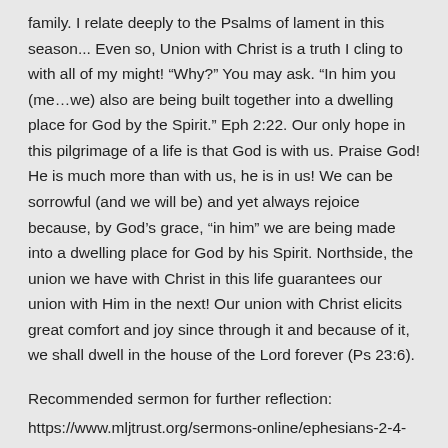family. I relate deeply to the Psalms of lament in this season... Even so, Union with Christ is a truth I cling to with all of my might! “Why?” You may ask. “In him you (me…we) also are being built together into a dwelling place for God by the Spirit.” Eph 2:22. Our only hope in this pilgrimage of a life is that God is with us. Praise God! He is much more than with us, he is in us! We can be sorrowful (and we will be) and yet always rejoice because, by God’s grace, “in him” we are being made into a dwelling place for God by his Spirit. Northside, the union we have with Christ in this life guarantees our union with Him in the next! Our union with Christ elicits great comfort and joy since through it and because of it, we shall dwell in the house of the Lord forever (Ps 23:6).
Recommended sermon for further reflection:
https://www.mljtrust.org/sermons-online/ephesians-2-4-7/in-